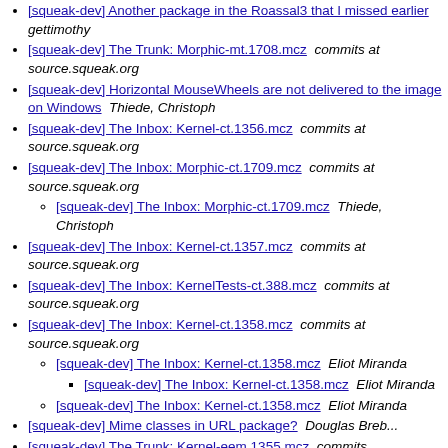[squeak-dev] Another package in the Roas... earlier  gettimothy
[squeak-dev] The Trunk: Morphic-mt.1708.mcz  commits at source.squeak.org
[squeak-dev] Horizontal MouseWheels are not delivered to the image on Windows  Thiede, Christoph
[squeak-dev] The Inbox: Kernel-ct.1356.mcz  commits at source.squeak.org
[squeak-dev] The Inbox: Morphic-ct.1709.mcz  commits at source.squeak.org
[squeak-dev] The Inbox: Morphic-ct.1709.mcz  Thiede, Christoph
[squeak-dev] The Inbox: Kernel-ct.1357.mcz  commits at source.squeak.org
[squeak-dev] The Inbox: KernelTests-ct.388.mcz  commits at source.squeak.org
[squeak-dev] The Inbox: Kernel-ct.1358.mcz  commits at source.squeak.org
[squeak-dev] The Inbox: Kernel-ct.1358.mcz  Eliot Miranda
[squeak-dev] The Inbox: Kernel-ct.1358.mcz  E... Miranda
[squeak-dev] The Inbox: Kernel-ct.1358.mcz  Eliot Miranda
[squeak-dev] Mime classes in URL package?  Douglas Breb...
[squeak-dev] The Trunk: Kernel-eem.1355.mcz  commits...